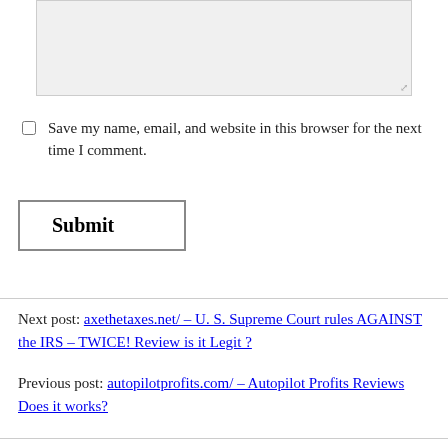[Figure (other): Comment text area input box, partially visible at top of page]
Save my name, email, and website in this browser for the next time I comment.
Submit
Next post: axethetaxes.net/ – U. S. Supreme Court rules AGAINST the IRS – TWICE! Review is it Legit ?
Previous post: autopilotprofits.com/ – Autopilot Profits Reviews Does it works?